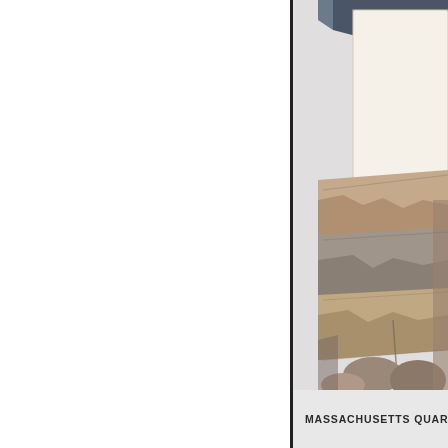[Figure (photo): Photograph showing layered stone or masonry construction detail, with torn paper or cardboard textures visible — appears to show wall damage or archaeological layers. Colors are tan, beige, brown, grey, and dark blue at top. The image is cropped, showing only the right portion of what appears to be a larger photograph mounted on a light grey background panel.]
MASSACHUSETTS QUART